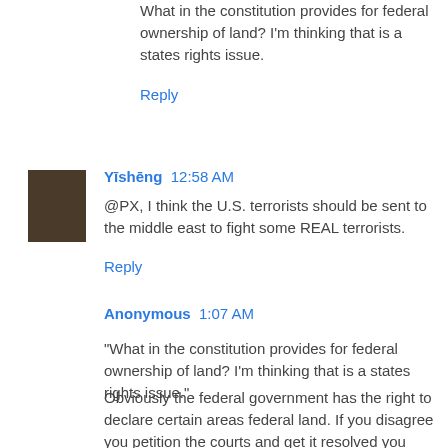What in the constitution provides for federal ownership of land? I'm thinking that is a states rights issue.
Reply
Yīshēng  12:58 AM
@PX, I think the U.S. terrorists should be sent to the middle east to fight some REAL terrorists.
Reply
Anonymous  1:07 AM
"What in the constitution provides for federal ownership of land? I'm thinking that is a states rights issue."
Obviously the federal government has the right to declare certain areas federal land. If you disagree you petition the courts and get it resolved you don't bring guns and try to occupy said land.